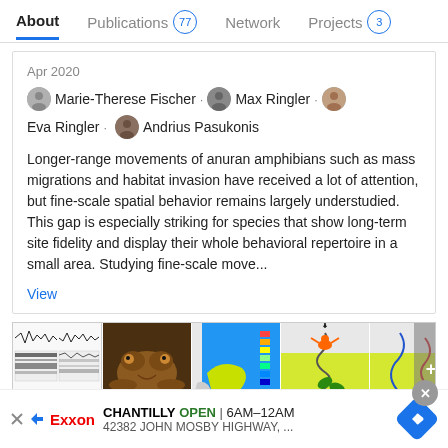About  Publications 77  Network  Projects 3
Apr 2020
Marie-Therese Fischer . Max Ringler . Eva Ringler . Andrius Pasukonis
Longer-range movements of anuran amphibians such as mass migrations and habitat invasion have received a lot of attention, but fine-scale spatial behavior remains largely understudied. This gap is especially striking for species that show long-term site fidelity and display their whole behavioral repertoire in a small area. Studying fine-scale move...
View
[Figure (photo): Strip of 5 thumbnail images related to a scientific publication about anuran amphibians, showing waveforms/spectrograms, a frog photo, and maps/movement diagrams.]
Advertisement
Spatio-Temporal Characteristics of the Prolonged...
CHANTILLY  OPEN  6AM–12AM  42382 JOHN MOSBY HIGHWAY, ...